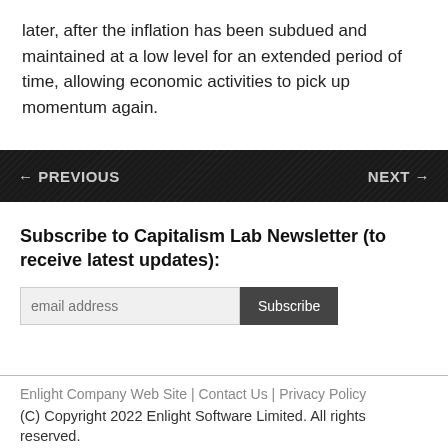later, after the inflation has been subdued and maintained at a low level for an extended period of time, allowing economic activities to pick up momentum again.
← PREVIOUS    NEXT →
Subscribe to Capitalism Lab Newsletter (to receive latest updates):
Enlight Company Web Site | Contact Us | Privacy Policy
(C) Copyright 2022 Enlight Software Limited. All rights reserved.